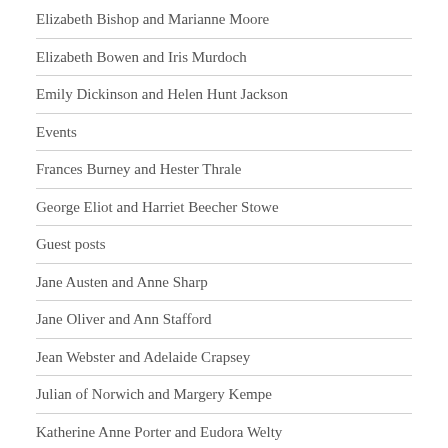Elizabeth Bishop and Marianne Moore
Elizabeth Bowen and Iris Murdoch
Emily Dickinson and Helen Hunt Jackson
Events
Frances Burney and Hester Thrale
George Eliot and Harriet Beecher Stowe
Guest posts
Jane Austen and Anne Sharp
Jane Oliver and Ann Stafford
Jean Webster and Adelaide Crapsey
Julian of Norwich and Margery Kempe
Katherine Anne Porter and Eudora Welty
Katherine Mansfield and Virginia Woolf